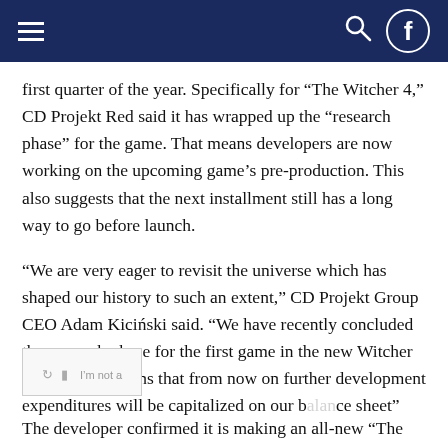Navigation bar with hamburger menu, search icon, and Facebook icon
first quarter of the year. Specifically for “The Witcher 4,” CD Projekt Red said it has wrapped up the “research phase” for the game. That means developers are now working on the upcoming game’s pre-production. This also suggests that the next installment still has a long way to go before launch.
“We are very eager to revisit the universe which has shaped our history to such an extent,” CD Projekt Group CEO Adam Kiciński said. “We have recently concluded the research phase for the first game in the new Witcher saga, which means that from now on further development expenditures will be capitalized on our balance sheet”
The developer confirmed it is making an all-new “The